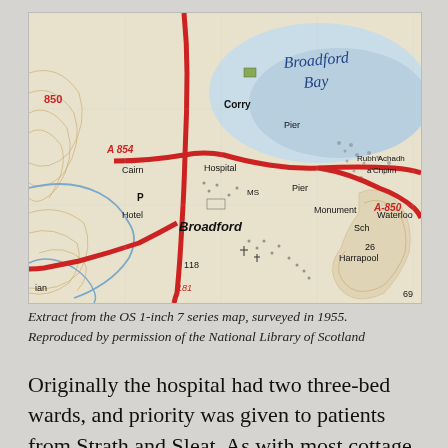[Figure (map): Extract from the OS 1-inch 7 series map of Broadford, Isle of Skye, surveyed in 1955. Shows Broadford Bay, roads A854 and A850, Broadford village, Hospital, Pier, Monument, Hotel, Harrapool, Waterloo, Rubh Achadh a'Chuirn, and contour lines.]
Extract from the OS 1-inch 7 series map, surveyed in 1955. Reproduced by permission of the National Library of Scotland
Originally the hospital had two three-bed wards, and priority was given to patients from Strath and Sleat. As with most cottage hospitals, patients might spend their